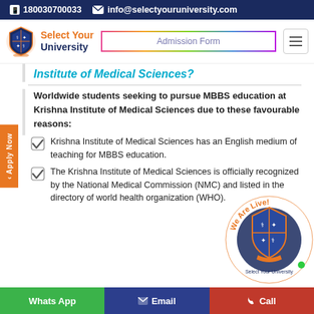180030700033   info@selectyouruniversity.com
[Figure (logo): Select Your University logo with shield emblem and navigation bar with Admission Form button and hamburger menu]
Institute of Medical Sciences?
Worldwide students seeking to pursue MBBS education at Krishna Institute of Medical Sciences due to these favourable reasons:
Krishna Institute of Medical Sciences has an English medium of teaching for MBBS education.
The Krishna Institute of Medical Sciences is officially recognized by the National Medical Commission (NMC) and listed in the directory of world health organization (WHO).
Whats App   Email   Call